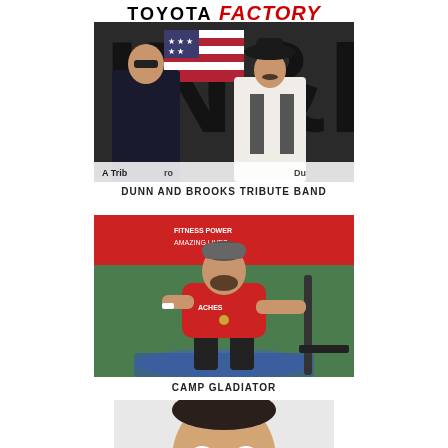TOYOTA FACTORY
[Figure (photo): Two men posing in front of a Brooks and Dunn tribute band backdrop with American flag imagery. One man in dark jacket and sunglasses, one in cowboy hat and vest. Text reads: A Tribute to Brooks & Dunn]
DUNN AND BROOKS TRIBUTE BAND
[Figure (photo): A man in red shirt performing an outdoor fitness exercise, holding equipment, crouching on a blue mat. Background shows a red sponsor banner.]
CAMP GLADIATOR
[Figure (photo): Close-up of a smiling man's face, partially visible at the bottom of the page.]